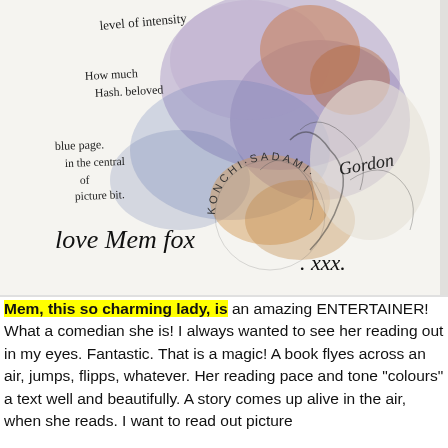[Figure (illustration): A watercolour and ink sketch of a person, with handwritten annotations including 'level of intensity', 'How much Hash. beloved', 'blue page in the central of picture bit.', a circular stamp reading 'KONCHI·SADAMI', a signature 'Gordon', and a large cursive signature 'Love Mem Fox. xxx.']
Mem, this so charming lady, is an amazing ENTERTAINER! What a comedian she is! I always wanted to see her reading out in my eyes. Fantastic. That is a magic! A book flyes across an air, jumps, flipps, whatever. Her reading pace and tone "colours" a text well and beautifully. A story comes up alive in the air, when she reads. I want to read out picture